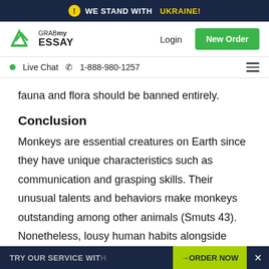WE STAND WITH UKRAINE!
[Figure (logo): GrabMyEssay logo with Login and New Order button navigation]
Live Chat  1-888-980-1257
fauna and flora should be banned entirely.
Conclusion
Monkeys are essential creatures on Earth since they have unique characteristics such as communication and grasping skills. Their unusual talents and behaviors make monkeys outstanding among other animals (Smuts 43). Nonetheless, lousy human habits alongside other factors threaten their existence. Therefore,
TRY OUR SERVICE WITH  →ORDER NOW  ×